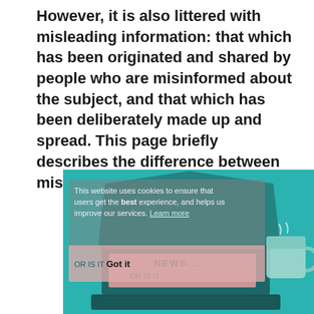However, it is also littered with misleading information: that which has been originated and shared by people who are misinformed about the subject, and that which has been deliberately made up and spread. This page briefly describes the difference between misinformation and fake news.
[Figure (screenshot): A screenshot of a webpage showing a teal/cyan background with an illustration of a laptop displaying 'NEWS... OR IS IT'. A cookie consent banner overlay reads 'This website uses cookies to ensure that users get the best experience, and helps us improve our services. Learn more' with a 'Got it' button. A mug is visible to the right side.]